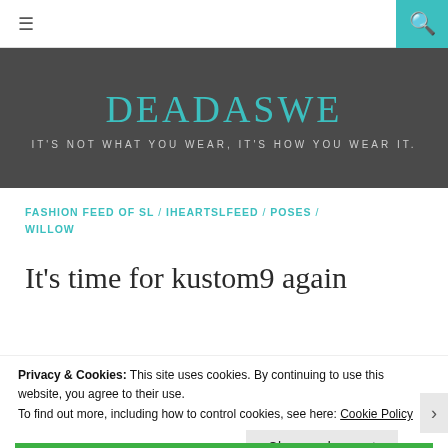≡  [search icon]
DEADASWE
IT'S NOT WHAT YOU WEAR, IT'S HOW YOU WEAR IT.
FASHION FEED OF SL / IHEARTSLFEED / POSES / WILLOW
It's time for kustom9 again
Privacy & Cookies: This site uses cookies. By continuing to use this website, you agree to their use.
To find out more, including how to control cookies, see here: Cookie Policy
Close and accept